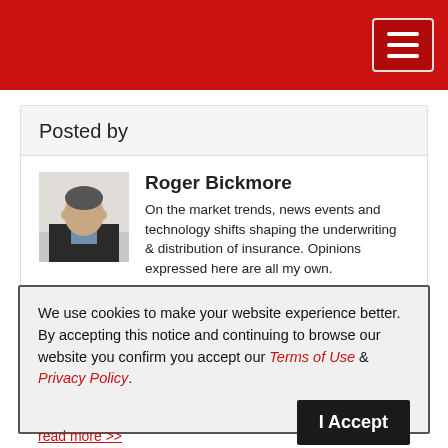Posted by
Roger Bickmore
On the market trends, news events and technology shifts shaping the underwriting & distribution of insurance. Opinions expressed here are all my own.
All posts by Roger Bickmore
We use cookies to make your website experience better. By accepting this notice and continuing to browse our website you confirm you accept our Terms of Use & Privacy Policy.

read more >>
I Accept